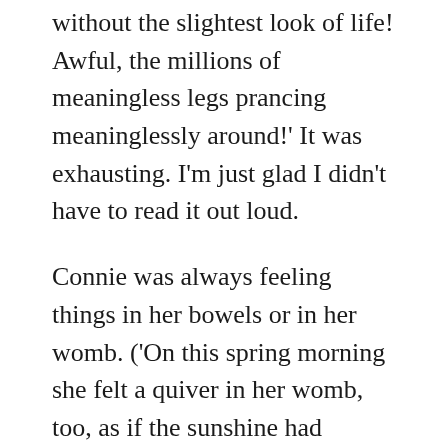without the slightest look of life! Awful, the millions of meaningless legs prancing meaninglessly around!' It was exhausting. I'm just glad I didn't have to read it out loud.
Connie was always feeling things in her bowels or in her womb. ('On this spring morning she felt a quiver in her womb, too, as if the sunshine had touched it and made it happy.') That was annoying but maybe we can forgive Lawrence seeing that he was writing 100 years ago and he does allow that Connie has very real sexual feelings which she follows. The sex is a bit cringey (inevitably, I suppose, given that there is often something a little odd and awkward about sex written down and we think about things so very differently now) and in the last chapter with Connie's first…